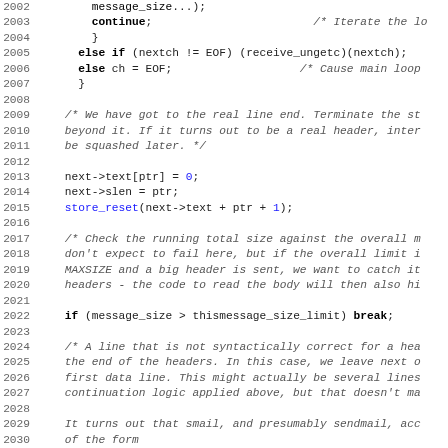[Figure (screenshot): Source code listing showing C code lines 2002-2034, with line numbers on the left, monospace font, keywords in bold, comments in italic, and numeric literals in blue.]